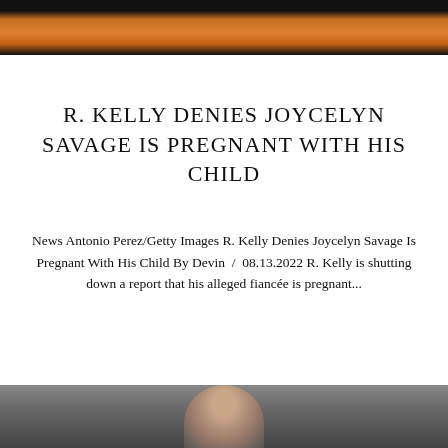[Figure (photo): Top portion of a photo showing an orange-colored background with partial view of a person]
R. KELLY DENIES JOYCELYN SAVAGE IS PREGNANT WITH HIS CHILD
News Antonio Perez/Getty Images R. Kelly Denies Joycelyn Savage Is Pregnant With His Child By Devin  /  08.13.2022 R. Kelly is shutting down a report that his alleged fiancée is pregnant...
[Figure (photo): Bottom portion showing the top of a person's head with dark hair against a gray background]